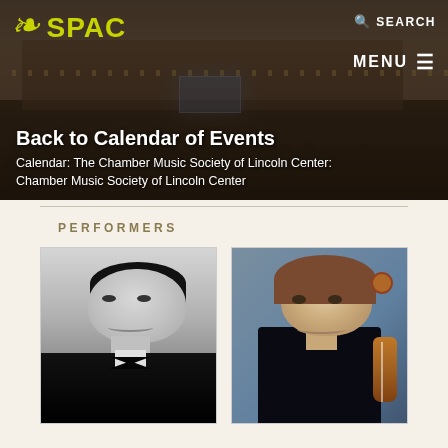[Figure (photo): SPAC website header with outdoor concert venue photo at dusk, crowd visible in foreground]
SPAC
SEARCH
MENU ≡
Back to Calendar of Events
Calendar:  The Chamber Music Society of Lincoln Center: Chamber Music Society of Lincoln Center
PERFORMERS
[Figure (photo): Black and white portrait of a young male performer in tuxedo with bow tie]
[Figure (photo): Color portrait of a male performer in black attire holding a violin/cello]